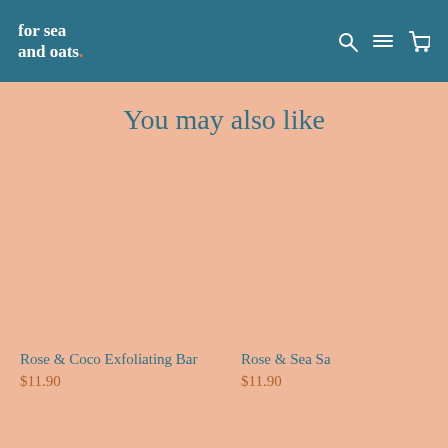for sea and oats.
You may also like
Rose & Coco Exfoliating Bar
$11.90
Rose & Sea Sa
$11.90